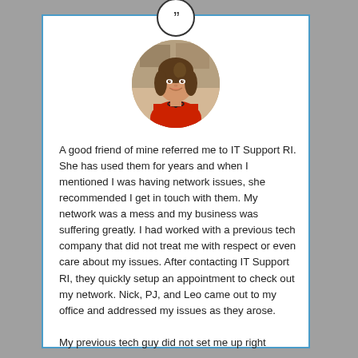[Figure (photo): Circular portrait photo of a woman with brown shoulder-length hair wearing a red top and black necklace, smiling, with an office/artwork background.]
A good friend of mine referred me to IT Support RI. She has used them for years and when I mentioned I was having network issues, she recommended I get in touch with them. My network was a mess and my business was suffering greatly. I had worked with a previous tech company that did not treat me with respect or even care about my issues. After contacting IT Support RI, they quickly setup an appointment to check out my network. Nick, PJ, and Leo came out to my office and addressed my issues as they arose.

My previous tech guy did not set me up right